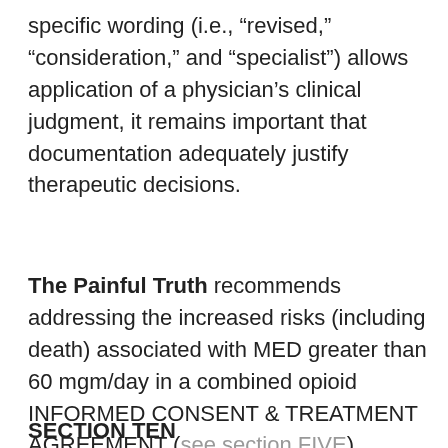specific wording (i.e., “revised,” “consideration,” and “specialist”) allows application of a physician’s clinical judgment, it remains important that documentation adequately justify therapeutic decisions.
The Painful Truth recommends addressing the increased risks (including death) associated with MED greater than 60 mgm/day in a combined opioid INFORMED CONSENT & TREATMENT AGREEMENT (see section FIVE).
SECTION TEN